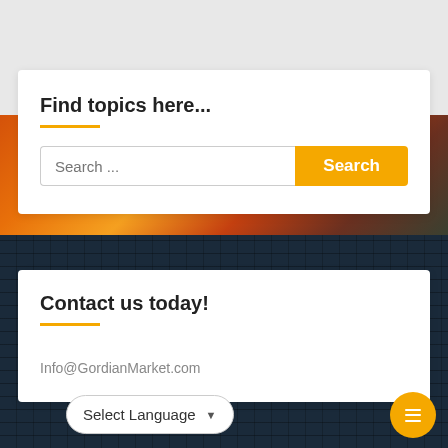Find topics here...
Search ...
Search
Contact us today!
Info@GordianMarket.com
Select Language